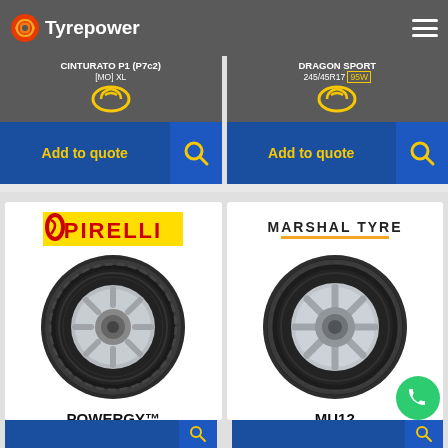Tyrepower
CINTURATO P1 (P7c2) [MO] XL | DRAGON SPORT 245/45R17 95W
Add to quote | Add to quote
[Figure (photo): Pirelli POWERGY tyre product card with Pirelli logo and tyre image, POWERGY TM 245/45R17 95W]
[Figure (photo): Marshal Tyre MU12 tyre product card with Marshal Tyre logo and tyre image, MU12 245/45R17 95W]